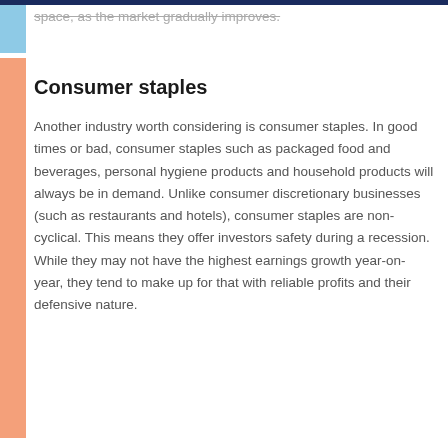space, as the market gradually improves.
Consumer staples
Another industry worth considering is consumer staples. In good times or bad, consumer staples such as packaged food and beverages, personal hygiene products and household products will always be in demand. Unlike consumer discretionary businesses (such as restaurants and hotels), consumer staples are non-cyclical. This means they offer investors safety during a recession. While they may not have the highest earnings growth year-on-year, they tend to make up for that with reliable profits and their defensive nature.